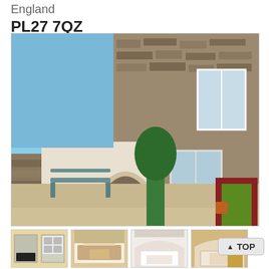England
PL27 7QZ
[Figure (photo): Exterior of a stone cottage/barn conversion with arched doorway, large windows, courtyard with gravel, bench, and garden plants on a sunny day]
[Figure (photo): Kitchen interior with white cabinets and oven]
[Figure (photo): Bedroom with arched ceiling and wooden furniture]
[Figure (photo): Bright bedroom with arched window]
[Figure (photo): Bedroom interior with curved ceiling]
TOP